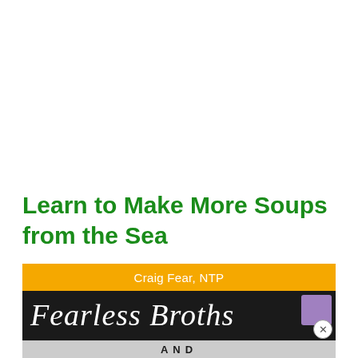Learn to Make More Soups from the Sea
[Figure (photo): Book cover for 'Fearless Broths' by Craig Fear, NTP. Orange banner at top with author name, black background with italic script title 'Fearless Broths', and grey 'AND' bar at bottom.]